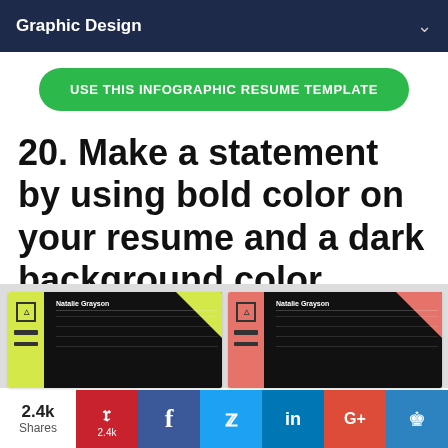Graphic Design
USE THIS INFOGRAPHIC RESUME TEMPLATE
20. Make a statement by using bold color on your resume and a dark background color
[Figure (screenshot): Two resume template examples shown side by side: left with yellow-green accent color, right with coral/red accent color, both on dark/black background with 'Natalie Grayson' name.]
2.4k Shares